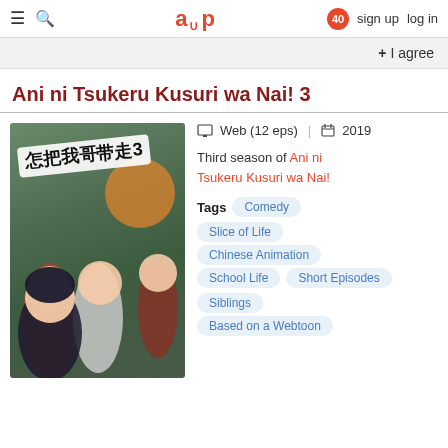≡ 🔍  a_p  40  sign up  log in
+ I agree
Ani ni Tsukeru Kusuri wa Nai! 3
[Figure (illustration): Anime cover art for Ani ni Tsukeru Kusuri wa Nai! 3 showing several anime characters with Chinese text banner]
Web (12 eps) | 2019
Third season of Ani ni Tsukeru Kusuri wa Nai!
Tags: Comedy, Slice of Life, Chinese Animation, School Life, Short Episodes, Siblings, Based on a Webtoon